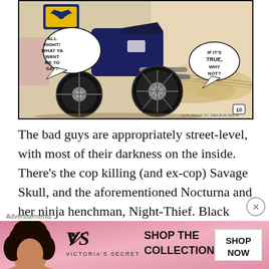[Figure (illustration): Comic book panel showing Batman's motorcycle (Batcycle) with Batman logo visible, dust clouds behind it. Speech bubble on left reads 'ALL RIGHT! WHAT YA WANT ME TO SAY?' and speech bubble on right reads 'IF IT'S TRUE, WHY NOT?' Panel number 10 visible in corner.]
The bad guys are appropriately street-level, with most of their darkness on the inside. There's the cop killing (and ex-cop) Savage Skull, and the aforementioned Nocturna and her ninja henchman, Night-Thief. Black Mask goes whacko and fashions a mask for himself from his father's coffin lid, which is pretty wonderful. Moench trots out Batman's tradition of killing every detective this for...
Advertisements
[Figure (photo): Victoria's Secret advertisement banner with a model with curly hair on the left, VS logo in center, text 'SHOP THE COLLECTION' and a 'SHOP NOW' button on the right. Pink gradient background.]